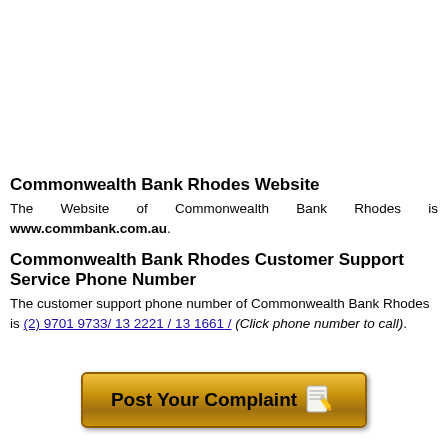Commonwealth Bank Rhodes Website
The Website of Commonwealth Bank Rhodes is www.commbank.com.au.
Commonwealth Bank Rhodes Customer Support Service Phone Number
The customer support phone number of Commonwealth Bank Rhodes is (2) 9701 9733/ 13 2221 / 13 1661 / (Click phone number to call).
[Figure (other): Post Your Complaint button with notepad and pencil icon]